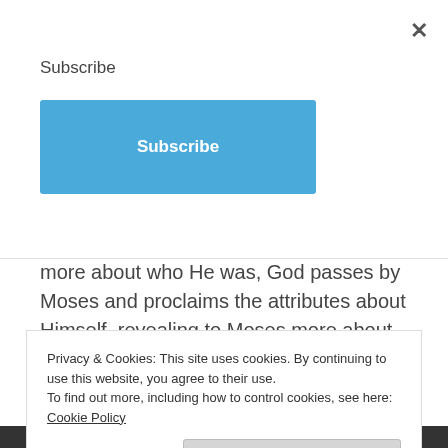Subscribe
Subscribe
more about who He was, God passes by Moses and proclaims the attributes about Himself, revealing to Moses more about His character. God wanted Moses (and us) to know that He is not an impersonal God. Instead, He is a God that loves us, unconditionally, while also being a just God who will punish sin. The result of God's revelation to Moses was that Moses bowed to
Privacy & Cookies: This site uses cookies. By continuing to use this website, you agree to their use.
To find out more, including how to control cookies, see here: Cookie Policy
Close and accept